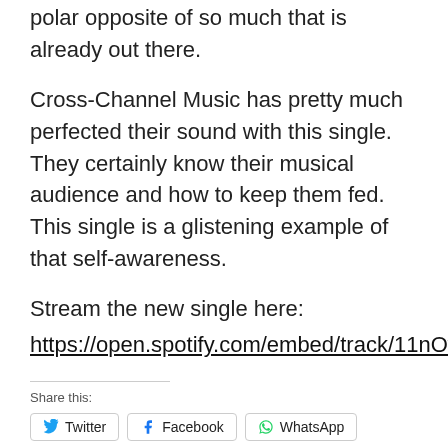polar opposite of so much that is already out there.
Cross-Channel Music has pretty much perfected their sound with this single. They certainly know their musical audience and how to keep them fed. This single is a glistening example of that self-awareness.
Stream the new single here:
https://open.spotify.com/embed/track/11nOwLNZs
Share this:
Twitter  Facebook  WhatsApp